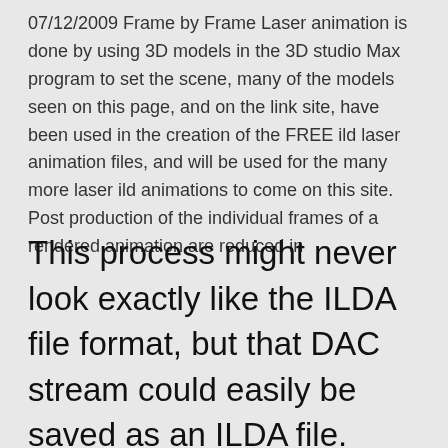07/12/2009 Frame by Frame Laser animation is done by using 3D models in the 3D studio Max program to set the scene, many of the models seen on this page, and on the link site, have been used in the creation of the FREE ild laser animation files, and will be used for the many more laser ild animations to come on this site. Post production of the individual frames of a rendered animation are reduced in
This process might never look exactly like the ILDA file format, but that DAC stream could easily be saved as an ILDA file. Furthermore, this ILDA file could be stripped of information in various ways to reduce points or colors. Or points may